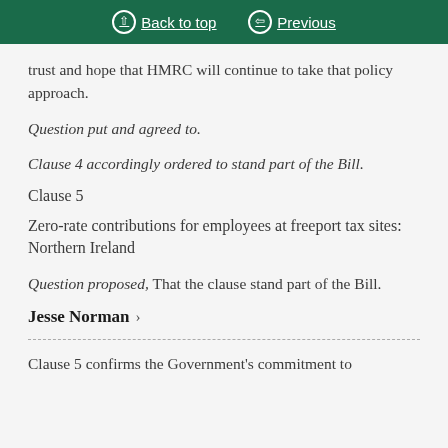Back to top  Previous
trust and hope that HMRC will continue to take that policy approach.
Question put and agreed to.
Clause 4 accordingly ordered to stand part of the Bill.
Clause 5
Zero-rate contributions for employees at freeport tax sites: Northern Ireland
Question proposed, That the clause stand part of the Bill.
Jesse Norman
Clause 5 confirms the Government’s commitment to